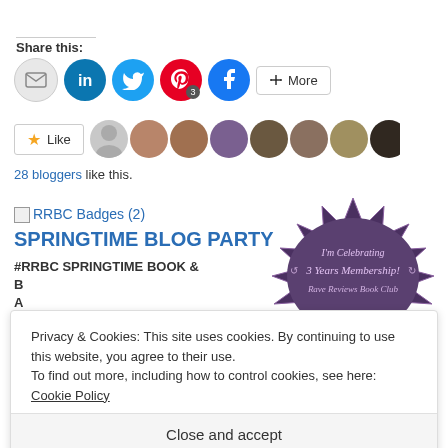Share this:
[Figure (illustration): Social sharing buttons: email (grey circle), LinkedIn (blue circle), Twitter (light blue circle), Pinterest (red circle with badge '3'), Facebook (blue circle), and a 'More' button]
[Figure (illustration): Like button with star icon and 'Like' text, followed by a row of blogger avatar thumbnails]
28 bloggers like this.
[Figure (illustration): RRBC Badges (2) link icon placeholder]
SPRINGTIME BLOG PARTY
#RRBC SPRINGTIME BOOK & B... A... I...
[Figure (illustration): I'm Celebrating 3 Years Membership! Rave Reviews Book Club — starburst badge in dark purple/pink]
Privacy & Cookies: This site uses cookies. By continuing to use this website, you agree to their use.
To find out more, including how to control cookies, see here: Cookie Policy
Close and accept
4WillsPub Blog Tour